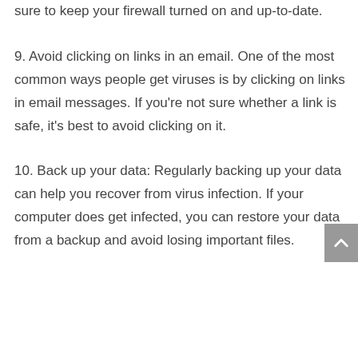sure to keep your firewall turned on and up-to-date.
9. Avoid clicking on links in an email. One of the most common ways people get viruses is by clicking on links in email messages. If you're not sure whether a link is safe, it's best to avoid clicking on it.
10. Back up your data: Regularly backing up your data can help you recover from virus infection. If your computer does get infected, you can restore your data from a backup and avoid losing important files.